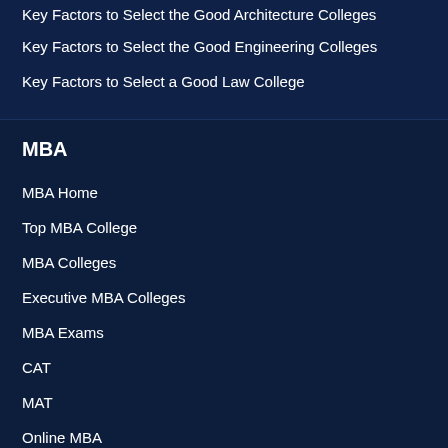Key Factors to Select the Good Architecture Colleges
Key Factors to Select the Good Engineering Colleges
Key Factors to Select a Good Law College
MBA
MBA Home
Top MBA College
MBA Colleges
Executive MBA Colleges
MBA Exams
CAT
MAT
Online MBA